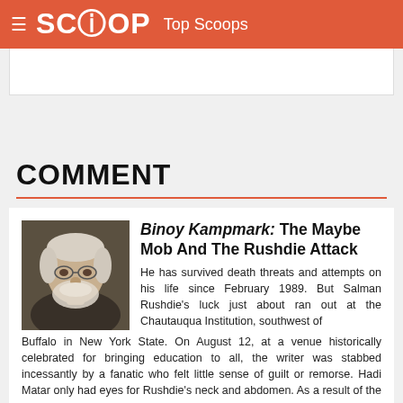SCOOP Top Scoops
COMMENT
Binoy Kampmark: The Maybe Mob And The Rushdie Attack
He has survived death threats and attempts on his life since February 1989. But Salman Rushdie's luck just about ran out at the Chautauqua Institution, southwest of Buffalo in New York State. On August 12, at a venue historically celebrated for bringing education to all, the writer was stabbed incessantly by a fanatic who felt little sense of guilt or remorse. Hadi Matar only had eyes for Rushdie's neck and abdomen. As a result of the attack, the author is likely to lose sight of one eye and possibly